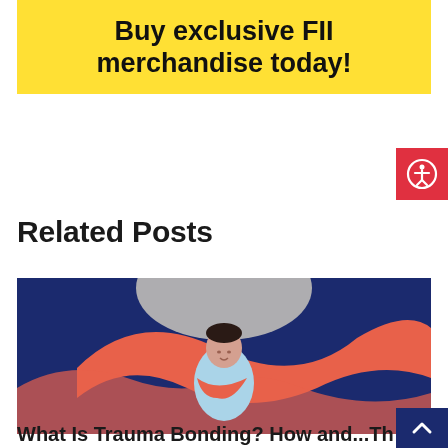Buy exclusive FII merchandise today!
[Figure (illustration): Illustration of a person meditating with flowing abstract shapes in dark blue and coral red on a dark navy background]
Related Posts
What Is Trauma Bonding? How and...Th